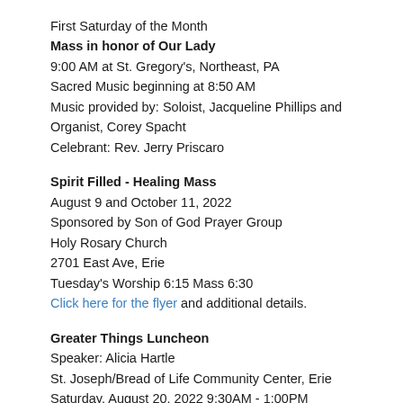First Saturday of the Month
Mass in honor of Our Lady
9:00 AM at St. Gregory's, Northeast, PA
Sacred Music beginning at 8:50 AM
Music provided by: Soloist, Jacqueline Phillips and Organist, Corey Spacht
Celebrant: Rev. Jerry Priscaro
Spirit Filled - Healing Mass
August 9 and October 11, 2022
Sponsored by Son of God Prayer Group
Holy Rosary Church
2701 East Ave, Erie
Tuesday's Worship 6:15 Mass 6:30
Click here for the flyer and additional details.
Greater Things Luncheon
Speaker: Alicia Hartle
St. Joseph/Bread of Life Community Center, Erie
Saturday, August 20, 2022 9:30AM - 1:00PM
Call T.A. 814-833-9717
Click here for the flyer and additional details.